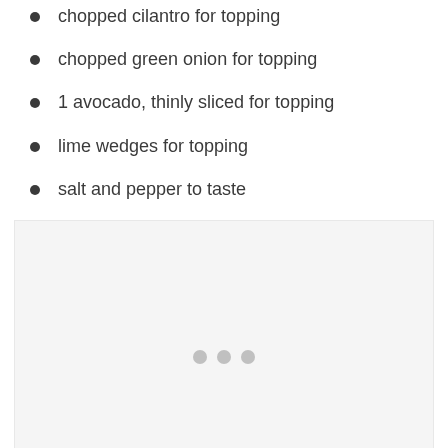chopped cilantro for topping
chopped green onion for topping
1 avocado, thinly sliced for topping
lime wedges for topping
salt and pepper to taste
[Figure (photo): Loading image placeholder with three gray dots indicator]